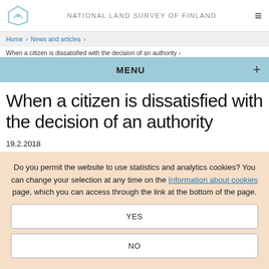NATIONAL LAND SURVEY OF FINLAND
Home › News and articles › When a citizen is dissatisfied with the decision of an authority ›
MENU +
When a citizen is dissatisfied with the decision of an authority
19.2.2018
Do you permit the website to use statistics and analytics cookies? You can change your selection at any time on the Information about cookies page, which you can access through the link at the bottom of the page.
YES
NO